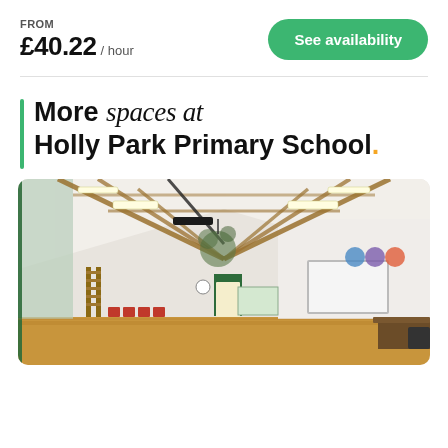FROM
£40.22 / hour
See availability
More spaces at Holly Park Primary School.
[Figure (photo): Interior photo of a primary school hall with wooden roof beams, gymnasium equipment, red chairs, a projector screen, and a polished wooden floor.]